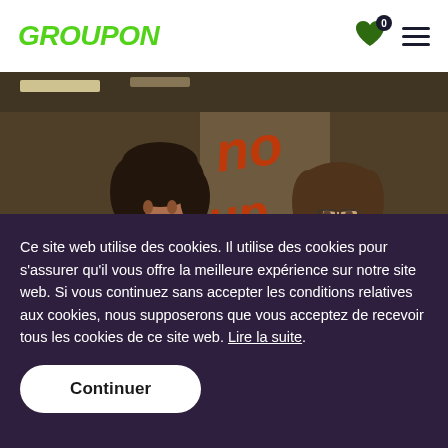GROUPON
[Figure (photo): Two women in an office environment with glass walls featuring red text/logo in the background. One woman with dark hair is smiling, the other with glasses is looking to the side.]
Ce site web utilise des cookies. Il utilise des cookies pour s'assurer qu'il vous offre la meilleure expérience sur notre site web. Si vous continuez sans accepter les conditions relatives aux cookies, nous supposerons que vous acceptez de recevoir tous les cookies de ce site web. Lire la suite.
Continuer